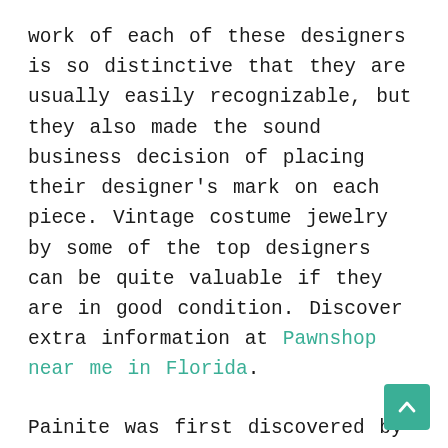work of each of these designers is so distinctive that they are usually easily recognizable, but they also made the sound business decision of placing their designer's mark on each piece. Vintage costume jewelry by some of the top designers can be quite valuable if they are in good condition. Discover extra information at Pawnshop near me in Florida.
Painite was first discovered by British gemologist Arthur Charles Davy Pain in 1951 and recognized as a new mineral in 1957. For many years only one specimen of the dark red crystal was in existence, housed at the British Museum in London, making it the world's rarest gemstone. Later on other